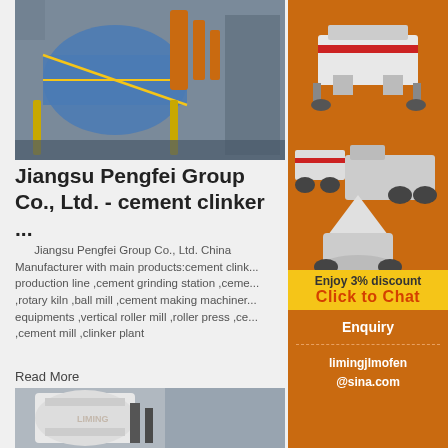[Figure (photo): Industrial machinery with large cylindrical components, pipes, and yellow measurement markings in a factory setting]
Jiangsu Pengfei Group Co., Ltd. - cement clinker ...
Jiangsu Pengfei Group Co., Ltd. China Manufacturer with main products:cement clinker production line ,cement grinding station ,ceme... ,rotary kiln ,ball mill ,cement making machinery... equipments ,vertical roller mill ,roller press ,ce... ,cement mill ,clinker plant
Read More
[Figure (photo): Large white industrial grinding/milling machine (LIMING brand) in a factory warehouse]
[Figure (photo): Side advertisement panel showing industrial crushing/grinding equipment on orange background with Enjoy 3% discount Click to Chat button, Enquiry, and limingjlmofen@sina.com contact]